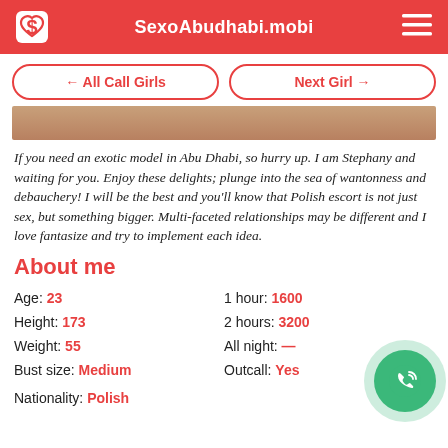SexoAbudhabi.mobi
← All Call Girls   Next Girl →
[Figure (photo): Partial photo of a person, cropped, warm tones]
If you need an exotic model in Abu Dhabi, so hurry up. I am Stephany and waiting for you. Enjoy these delights; plunge into the sea of wantonness and debauchery! I will be the best and you'll know that Polish escort is not just sex, but something bigger. Multi-faceted relationships may be different and I love fantasize and try to implement each idea.
About me
Age: 23  1 hour: 1600
Height: 173  2 hours: 3200
Weight: 55  All night: —
Bust size: Medium  Outcall: Yes
Nationality: Polish